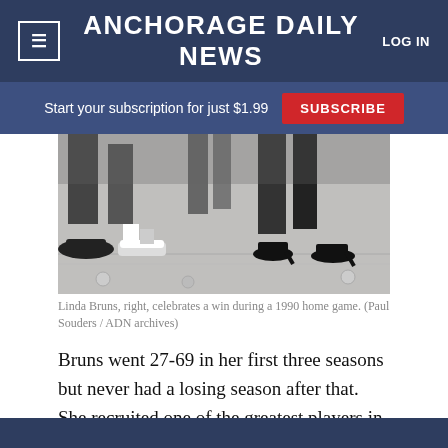≡  ANCHORAGE DAILY NEWS  LOG IN
Start your subscription for just $1.99  SUBSCRIBE
[Figure (photo): Black and white photo of feet and shoes on a basketball court floor, celebrating a win during a 1990 home game.]
Linda Bruns, right, celebrates a win during a 1990 home game. (Paul Souders / ADN archives)
Bruns went 27-69 in her first three seasons but never had a losing season after that. She recruited one of the greatest players in school history — Robin Graul — and together they put the Seawolves on the map. In 1988, Bruns guided Graul and her